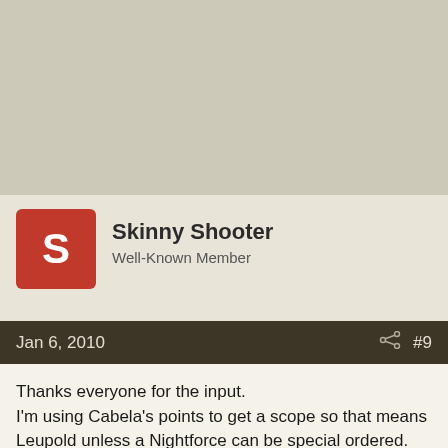[Figure (other): Blank beige/tan top area of a forum page]
Skinny Shooter
Well-Known Member
Jan 6, 2010  #9
Thanks everyone for the input.
I'm using Cabela's points to get a scope so that means Leupold unless a Nightforce can be special ordered.
Already have a carbine and a 12ga for the home. 😎
While groundhog hunting I often carry two varmint rifles for close and far so weight isn't an issue.
After doing more reading am leaning towards a 4.5-14x b